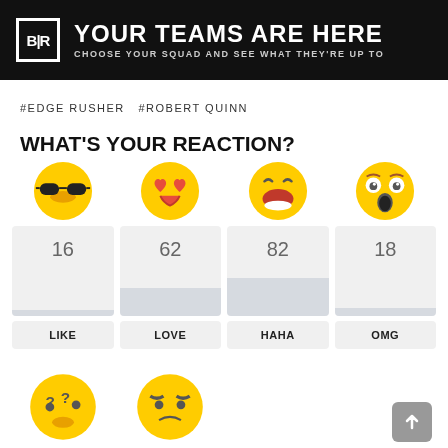[Figure (logo): Bleacher Report header banner with BR logo and text YOUR TEAMS ARE HERE / CHOOSE YOUR SQUAD AND SEE WHAT THEY'RE UP TO]
#EDGE RUSHER  #ROBERT QUINN
WHAT'S YOUR REACTION?
[Figure (infographic): Four emoji reaction buttons with counts: LIKE (sunglasses emoji) 16, LOVE (heart eyes emoji) 62, HAHA (laughing emoji) 82, OMG (shocked emoji) 18, with proportional bar indicators below each count]
[Figure (infographic): Bottom row showing two more emoji reactions: confused face and angry face]